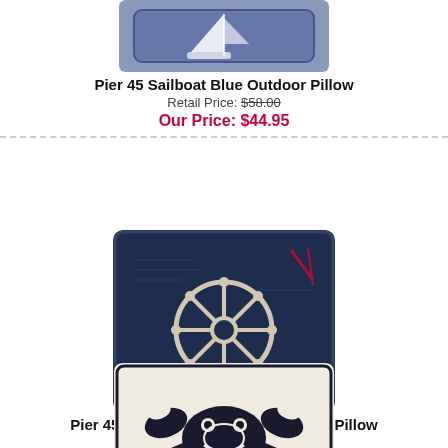[Figure (photo): Pier 45 Sailboat Blue Outdoor Pillow product image — dark blue pillow with white sailboat graphic]
Pier 45 Sailboat Blue Outdoor Pillow
Retail Price: $58.00
Our Price: $44.95
[Figure (photo): Pier 45 Sailboat Wheel Blue Outdoor Pillow product image — dark navy blue pillow with white ship wheel graphic]
Pier 45 Sailboat Wheel Blue Outdoor Pillow
Retail Price: $58.00
Our Price: $44.95
[Figure (photo): Third pillow product image — cream/white pillow with dark blue stylized crab graphic]